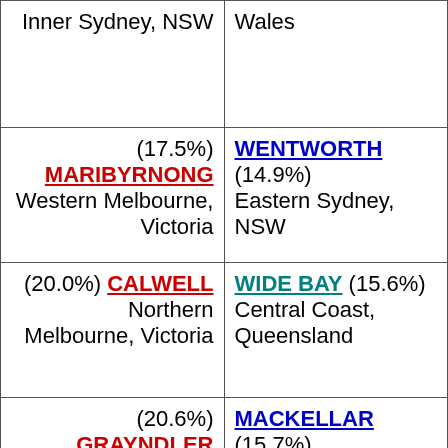| Inner Sydney, NSW | Wales |
| (17.5%) MARIBYRNONG
Western Melbourne, Victoria | WENTWORTH (14.9%)
Eastern Sydney, NSW |
| (20.0%) CALWELL
Northern Melbourne, Victoria | WIDE BAY (15.6%)
Central Coast, Queensland |
| (20.6%) GRAYNDLER
Inner Sydney, NSW | MACKELLAR (15.7%)
North Shore, NSW |
| (20.6%) SCULLIN
Northern Melbourne, Victoria | CURTIN (16.2%)
Western Perth, WA |